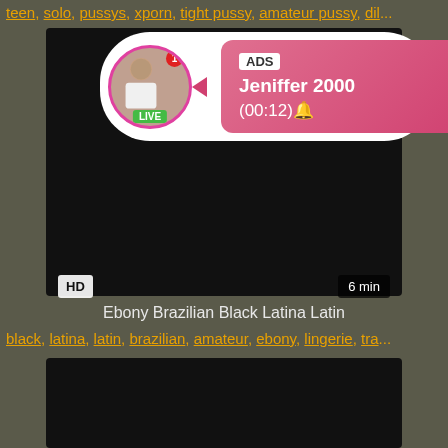teen, solo, pussys, xporn, tight pussy, amateur pussy, dil...
[Figure (screenshot): Video thumbnail with dark/black background, HD badge bottom-left, 6 min badge bottom-right, and ad overlay showing profile picture with LIVE badge, notification dot, arrow pointing left to pink gradient box with ADS label, name Jeniffer 2000, and time (00:12)]
Ebony Brazilian Black Latina Latin
black, latina, latin, brazilian, amateur, ebony, lingerie, tra...
[Figure (screenshot): Second video thumbnail with dark/black background]